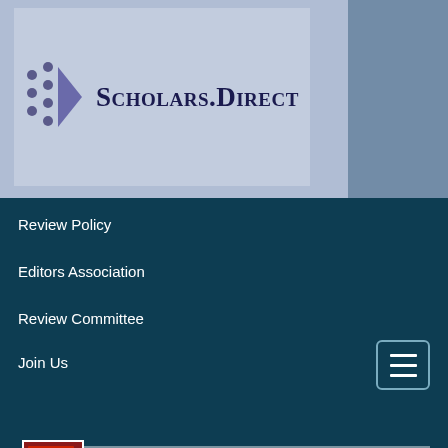[Figure (logo): Scholars.Direct logo with triangular icon made of dots on light blue background]
Review Policy
Editors Association
Review Committee
Join Us
Annals of Pulmonology
ISSN: 2643-5985
[Figure (infographic): Check for updates badge with colorful bookmark icon]